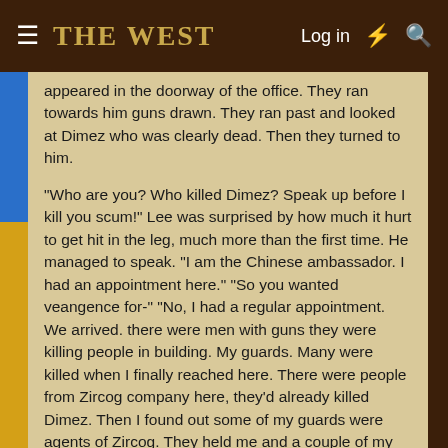☰ THE WEST   Log in ⚡ 🔍
appeared in the doorway of the office. They ran towards him guns drawn. They ran past and looked at Dimez who was clearly dead. Then they turned to him.

"Who are you? Who killed Dimez? Speak up before I kill you scum!" Lee was surprised by how much it hurt to get hit in the leg, much more than the first time. He managed to speak. "I am the Chinese ambassador. I had an appointment here." "So you wanted veangence for-" "No, I had a regular appointment. We arrived. there were men with guns they were killing people in building. My guards. Many were killed when I finally reached here. There were people from Zircog company here, they'd already killed Dimez. Then I found out some of my guards were agents of Zircog. They held me and a couple of my other guards at gunpoint. Then something went wrong the Zircog men gunned down some of the traitors and fled. A gun battle broke out between my remaining guards and the traitors. I shot the last one as you came in." Another wave of pain went through Lee's body. "Zircog killed Dimez?" "Yes?" "Where are they?" "I don't know. I understand one of their ships is in the spaceport." The man put his gun up to Lee's head then put it